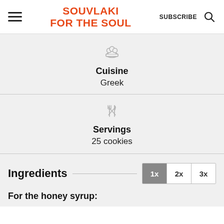SOUVLAKI FOR THE SOUL | SUBSCRIBE
Cuisine
Greek
Servings
25 cookies
Ingredients
1x  2x  3x
For the honey syrup: